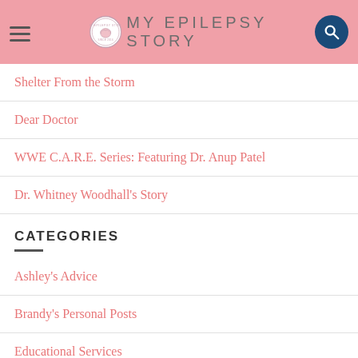MY EPILEPSY STORY
Shelter From the Storm
Dear Doctor
WWE C.A.R.E. Series: Featuring Dr. Anup Patel
Dr. Whitney Woodhall's Story
CATEGORIES
Ashley's Advice
Brandy's Personal Posts
Educational Services
EMPOWERING Girls Video Series